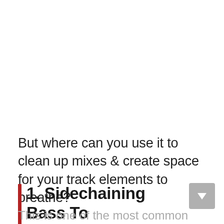But where can you use it to clean up mixes & create space for your track elements to breathe?
1. Sidechaining Bass To Create Room for The Kick
This is one of the most common